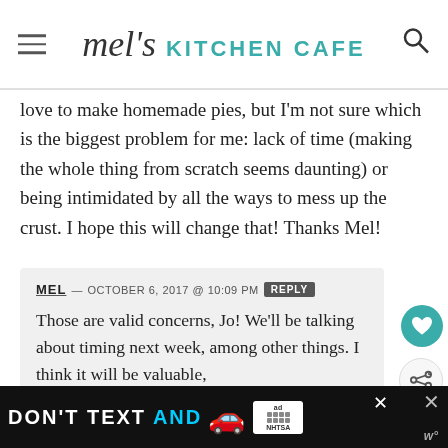mel's KITCHEN CAFE
love to make homemade pies, but I'm not sure which is the biggest problem for me: lack of time (making the whole thing from scratch seems daunting) or being intimidated by all the ways to mess up the crust. I hope this will change that! Thanks Mel!
MEL — OCTOBER 6, 2017 @ 10:09 PM REPLY
Those are valid concerns, Jo! We'll be talking about timing next week, among other things. I think it will be valuable,
[Figure (screenshot): Advertisement banner: DON'T TEXT AND [car emoji] with ad badge and NHTSA logo]